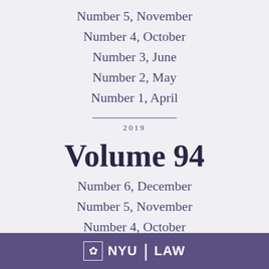Number 5, November
Number 4, October
Number 3, June
Number 2, May
Number 1, April
2019
Volume 94
Number 6, December
Number 5, November
Number 4, October
Number 3, June
Number 2, May
Number 1, April
NYU LAW